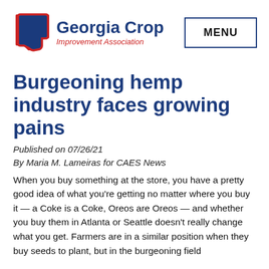[Figure (logo): Georgia Crop Improvement Association logo with Georgia state shape in red outline with blue fill, bold blue text 'Georgia Crop' and italic red text 'Improvement Association']
MENU
Burgeoning hemp industry faces growing pains
Published on 07/26/21
By Maria M. Lameiras for CAES News
When you buy something at the store, you have a pretty good idea of what you're getting no matter where you buy it — a Coke is a Coke, Oreos are Oreos — and whether you buy them in Atlanta or Seattle doesn't really change what you get. Farmers are in a similar position when they buy seeds to plant, but in the burgeoning field